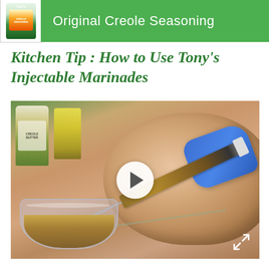[Figure (photo): Product thumbnail - Tony's Original Creole Seasoning can]
Original Creole Seasoning
Kitchen Tip : How to Use Tony's Injectable Marinades
[Figure (photo): Video thumbnail showing a gloved hand using an injection marinade syringe on raw turkey with a bowl of marinade in foreground, with Tony's product bottles in background. White play button overlay in center. Expand icon in bottom right corner.]